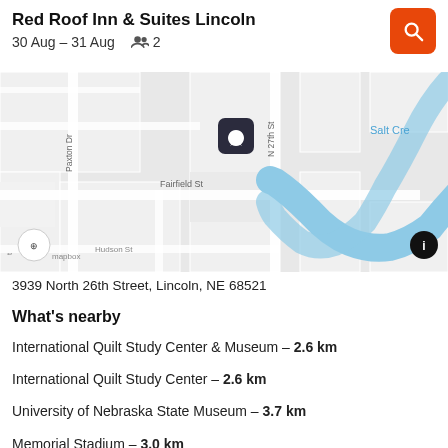Red Roof Inn & Suites Lincoln
30 Aug – 31 Aug  👥 2
[Figure (map): Street map showing the location of Red Roof Inn & Suites Lincoln near N 27th St, Paxton Dr, Fairfield St, with Salt Creek waterway visible. A dark map pin marks the hotel location. Mapbox attribution shown.]
3939 North 26th Street, Lincoln, NE 68521
What's nearby
International Quilt Study Center & Museum – 2.6 km
International Quilt Study Center – 2.6 km
University of Nebraska State Museum – 3.7 km
Memorial Stadium – 3.0 km